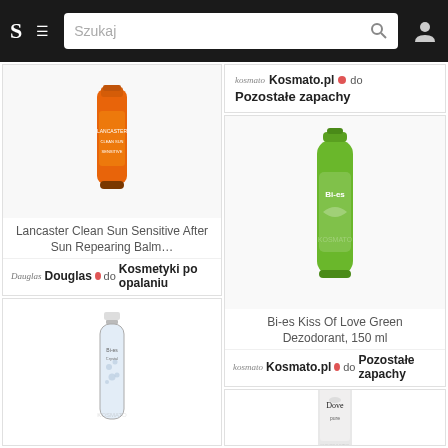S  ≡  [Szukaj]  🔍  👤
[Figure (photo): Lancaster orange sun care tube product image]
Lancaster Clean Sun Sensitive After Sun Repearing Balm…
Douglas • do Kosmetyki po opalaniu
Kosmato.pl • do Pozostałe zapachy
[Figure (photo): Bi-es Kiss Of Love Green Dezodorant green spray can]
Bi-es Kiss Of Love Green Dezodorant, 150 ml
Kosmato.pl • do Pozostałe zapachy
[Figure (photo): Bi-es Crystal clear perfume bottle]
[Figure (photo): Dove pure deodorant spray can]